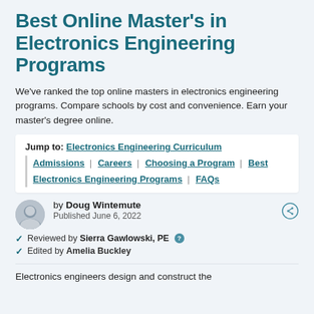Best Online Master's in Electronics Engineering Programs
We've ranked the top online masters in electronics engineering programs. Compare schools by cost and convenience. Earn your master's degree online.
Jump to: Electronics Engineering Curriculum | Admissions | Careers | Choosing a Program | Best Electronics Engineering Programs | FAQs
by Doug Wintemute
Published June 6, 2022
Reviewed by Sierra Gawlowski, PE
Edited by Amelia Buckley
Electronics engineers design and construct the